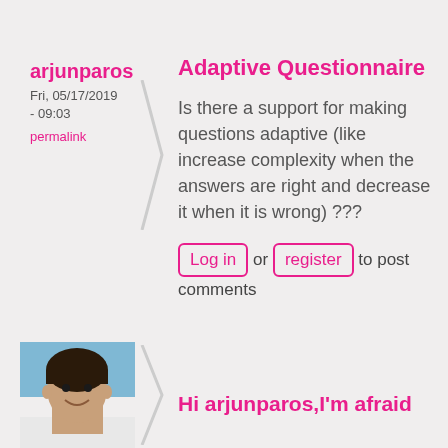arjunparos
Fri, 05/17/2019 - 09:03
permalink
Adaptive Questionnaire
Is there a support for making questions adaptive (like increase complexity when the answers are right and decrease it when it is wrong) ???
Log in or register to post comments
[Figure (photo): Avatar photo of a man smiling, wearing a white shirt, with a blue/teal background]
Hi arjunparos,I'm afraid